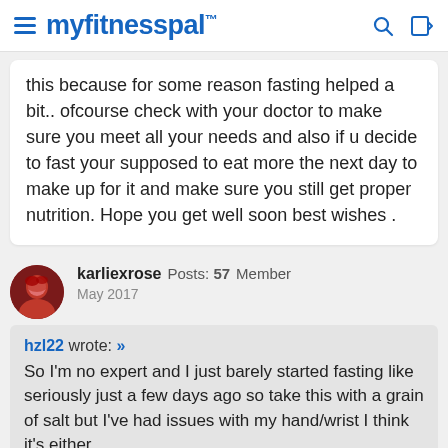myfitnesspal
this because for some reason fasting helped a bit.. ofcourse check with your doctor to make sure you meet all your needs and also if u decide to fast your supposed to eat more the next day to make up for it and make sure you still get proper nutrition. Hope you get well soon best wishes .
karliexrose  Posts: 57  Member
May 2017
hzl22 wrote: »
So I'm no expert and I just barely started fasting like seriously just a few days ago so take this with a grain of salt but I've had issues with my hand/wrist I think it's either